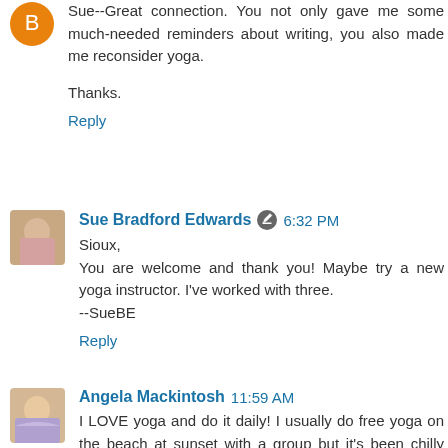Sue--Great connection. You not only gave me some much-needed reminders about writing, you also made me reconsider yoga.

Thanks.
Reply
Sue Bradford Edwards  6:32 PM
Sioux,
You are welcome and thank you! Maybe try a new yoga instructor. I've worked with three.
--SueBE
Reply
Angela Mackintosh  11:59 AM
I LOVE yoga and do it daily! I usually do free yoga on the beach at sunset with a group but it's been chilly lately so I've been doing cardio yoga at my pad with my neighbors.